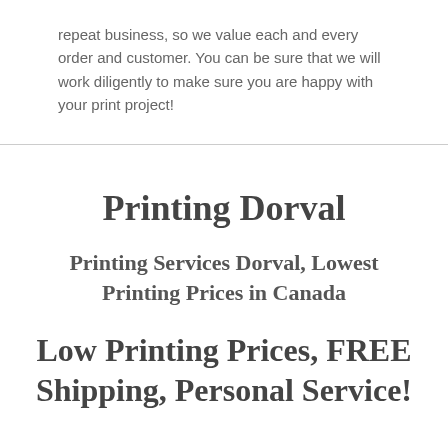repeat business, so we value each and every order and customer. You can be sure that we will work diligently to make sure you are happy with your print project!
Printing Dorval
Printing Services Dorval, Lowest Printing Prices in Canada
Low Printing Prices, FREE Shipping, Personal Service!